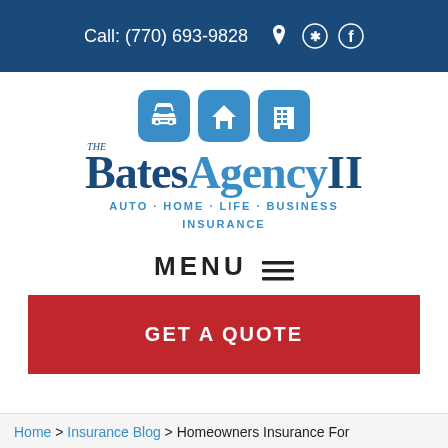Call: (770) 693-9828
[Figure (logo): The Bates Agency II logo with three blue icon boxes (car, house, building) above the stylized text 'The BatesAgencyII' and tagline 'AUTO · HOME · LIFE · BUSINESS INSURANCE']
MENU ≡
GET A QUOTE
Home > Insurance Blog > Homeowners Insurance For